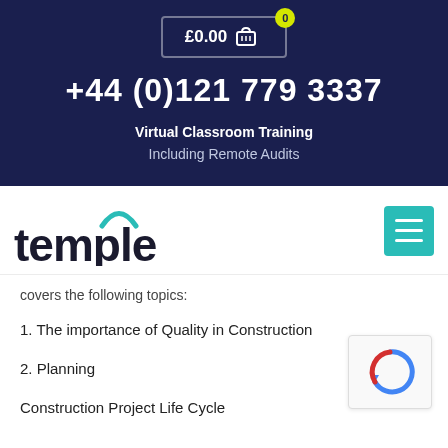[Figure (other): Shopping cart button showing £0.00 with a yellow badge showing 0, on dark navy background]
+44 (0)121 779 3337
Virtual Classroom Training
Including Remote Audits
[Figure (logo): Temple logo with teal arc above the word 'temple' in black bold text]
[Figure (other): Teal hamburger menu button with three white lines]
covers the following topics:
1. The importance of Quality in Construction
2. Planning
Construction Project Life Cycle